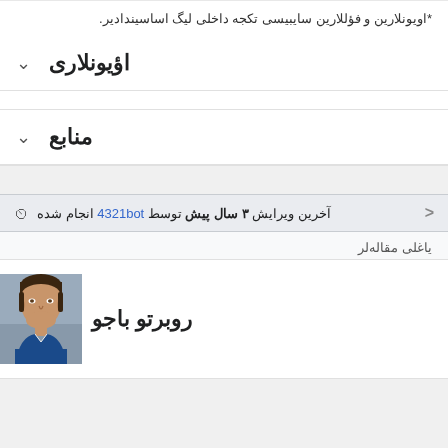*اویونلارین و فؤللارین سایبیسی تکجه داخلی لیگ اساسیندادیر.
اؤیونلاری
منابع
آخرین ویرایش ۳ سال پیش توسط 4321bot انجام شده
یاغلی مقاله‌لر
روبرتو باجو